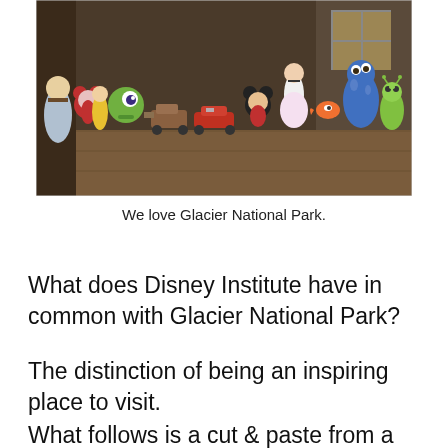[Figure (photo): A collection of Disney character figurines arranged on a wooden floor, including characters from Cars, Monsters Inc., Snow White, Toy Story, and classic Disney characters like Mickey, Donald, and Goofy.]
We love Glacier National Park.
What does Disney Institute have in common with Glacier National Park?
The distinction of being an inspiring place to visit.
What follows is a cut & paste from a